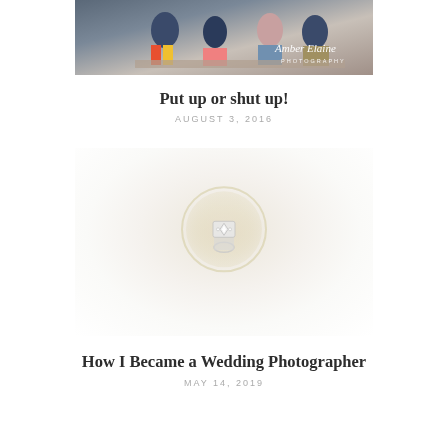[Figure (photo): Family portrait photo with 'Amber Elaine Photography' watermark in the bottom right corner. Shows a family sitting together outdoors.]
Put up or shut up!
AUGUST 3, 2016
[Figure (photo): Close-up macro photograph of a diamond engagement ring placed on a white flower, with soft blurred background.]
How I Became a Wedding Photographer
MAY 14, 2019